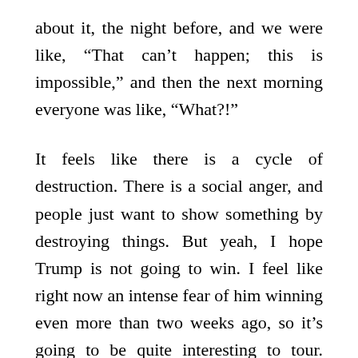about it, the night before, and we were like, “That can’t happen; this is impossible,” and then the next morning everyone was like, “What?!”
It feels like there is a cycle of destruction. There is a social anger, and people just want to show something by destroying things. But yeah, I hope Trump is not going to win. I feel like right now an intense fear of him winning even more than two weeks ago, so it’s going to be quite interesting to tour. Then again I’m not doing a full, intense tour, and I think America